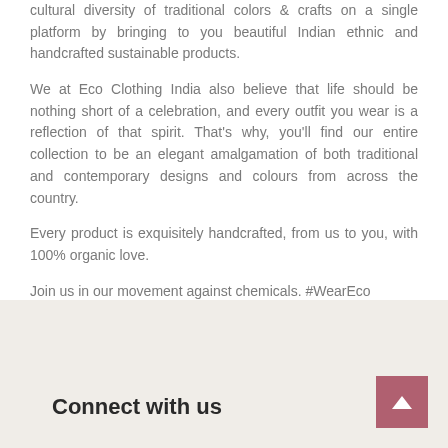cultural diversity of traditional colors & crafts on a single platform by bringing to you beautiful Indian ethnic and handcrafted sustainable products.
We at Eco Clothing India also believe that life should be nothing short of a celebration, and every outfit you wear is a reflection of that spirit. That's why, you'll find our entire collection to be an elegant amalgamation of both traditional and contemporary designs and colours from across the country.
Every product is exquisitely handcrafted, from us to you, with 100% organic love.
Join us in our movement against chemicals. #WearEco
Explore our range of sustainable eco-friendly organic fashion
Connect with us